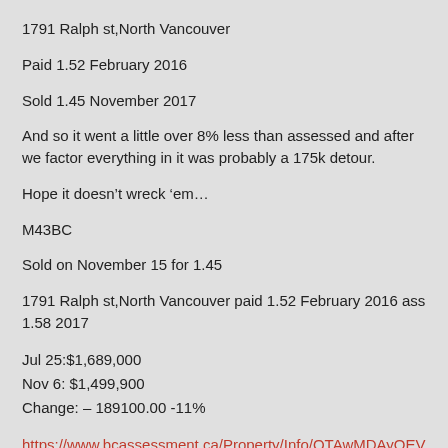1791 Ralph st,North Vancouver
Paid 1.52 February 2016
Sold 1.45 November 2017
And so it went a little over 8% less than assessed and after we factor everything in it was probably a 175k detour.
Hope it doesn’t wreck ‘em…
M43BC
Sold on November 15 for 1.45
1791 Ralph st,North Vancouver paid 1.52 February 2016 ass 1.58 2017
Jul 25:$1,689,000
Nov 6: $1,499,900
Change: – 189100.00 -11%
https://www.bcassessment.ca/Property/Info/QTAwMDAyOEVDWQ==
https://www.zolo.ca/north-vancouver-real-estate/1791-ralph-street